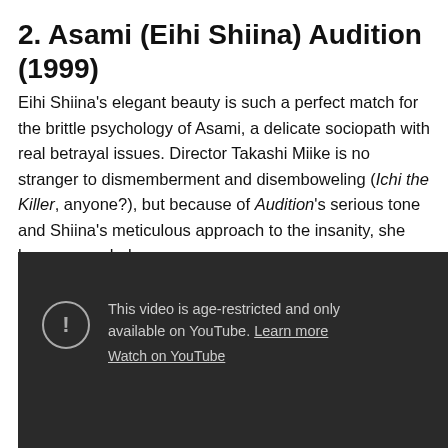2. Asami (Eihi Shiina) Audition (1999)
Eihi Shiina's elegant beauty is such a perfect match for the brittle psychology of Asami, a delicate sociopath with real betrayal issues. Director Takashi Miike is no stranger to dismemberment and disemboweling (Ichi the Killer, anyone?), but because of Audition's serious tone and Shiina's meticulous approach to the insanity, she leaves you shaken.
[Figure (screenshot): A dark YouTube video player showing an age-restricted video message. Contains a circular exclamation icon and text: 'This video is age-restricted and only available on YouTube. Learn more' and 'Watch on YouTube' link.]